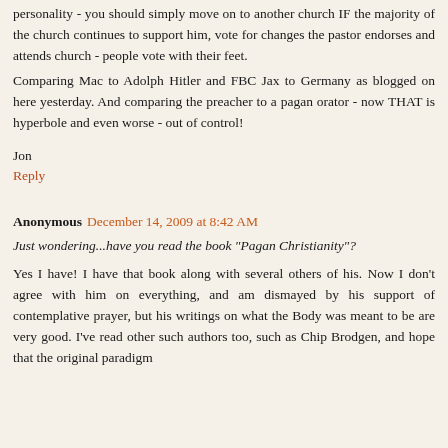personality - you should simply move on to another church IF the majority of the church continues to support him, vote for changes the pastor endorses and attends church - people vote with their feet.
Comparing Mac to Adolph Hitler and FBC Jax to Germany as blogged on here yesterday. And comparing the preacher to a pagan orator - now THAT is hyperbole and even worse - out of control!
Jon
Reply
Anonymous December 14, 2009 at 8:42 AM
Just wondering...have you read the book "Pagan Christianity"?
Yes I have! I have that book along with several others of his. Now I don't agree with him on everything, and am dismayed by his support of contemplative prayer, but his writings on what the Body was meant to be are very good. I've read other such authors too, such as Chip Brodgen, and hope that the original paradigm